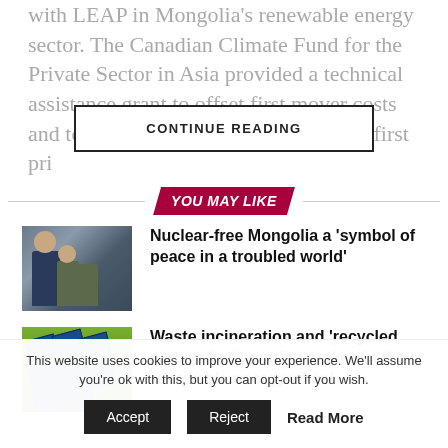with LEAP in Mongolia's renewable energy sector. The Canadian Climate Fund for the Private Sector in Asia provided a technical assistance grant to offset first mover costs and to catalyze the financing of ADB's first pri… …olia
CONTINUE READING
YOU MAY LIKE
[Figure (photo): Photo of people including men in suits and military uniforms, appearing to shake hands or greet each other outdoors]
Nuclear-free Mongolia a 'symbol of peace in a troubled world'
[Figure (photo): Aerial photo of solar panels in a green field]
Waste incineration and 'recycled carbon fuel', putting stokes in the renewable energy wheel
This website uses cookies to improve your experience. We'll assume you're ok with this, but you can opt-out if you wish.
Accept
Reject
Read More